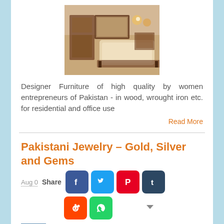[Figure (photo): Interior room photo showing furniture: sofa, mirror, lamps, cabinet in warm tones]
Designer Furniture of high quality by women entrepreneurs of Pakistan - in wood, wrought iron etc. for residential and office use
Read More
Pakistani Jewelry - Gold, Silver and Gems
Aug 0   Share
[Figure (infographic): Social media share icons: Facebook, Twitter, Pinterest, Tumblr, Reddit, WhatsApp, and a dropdown arrow]
[Figure (photo): Small thumbnail image at bottom left, partially visible, appearing to show jewelry or gemstones]